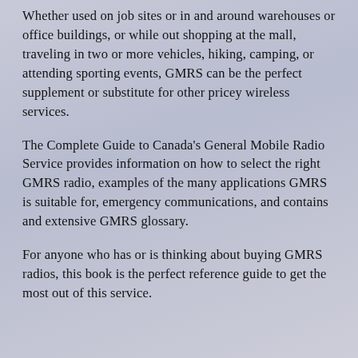Whether used on job sites or in and around warehouses or office buildings, or while out shopping at the mall, traveling in two or more vehicles, hiking, camping, or attending sporting events, GMRS can be the perfect supplement or substitute for other pricey wireless services.
The Complete Guide to Canada's General Mobile Radio Service provides information on how to select the right GMRS radio, examples of the many applications GMRS is suitable for, emergency communications, and contains and extensive GMRS glossary.
For anyone who has or is thinking about buying GMRS radios, this book is the perfect reference guide to get the most out of this service.